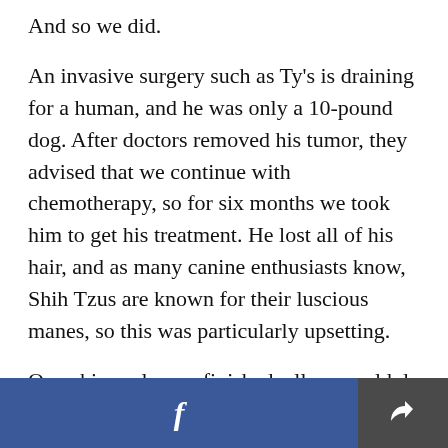And so we did.
An invasive surgery such as Ty's is draining for a human, and he was only a 10-pound dog. After doctors removed his tumor, they advised that we continue with chemotherapy, so for six months we took him to get his treatment. He lost all of his hair, and as many canine enthusiasts know, Shih Tzus are known for their luscious manes, so this was particularly upsetting.
Once his cycle was finished, all we could do was wait. He was successfully in remission, but we still couldn't shake what the doctors had told us: "Only
f  [share]